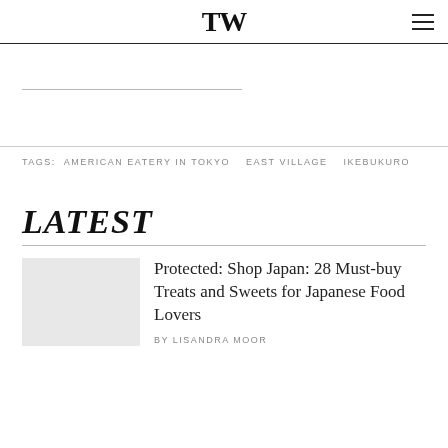TW
TAGS:  AMERICAN EATERY IN TOKYO   EAST VILLAGE   IKEBUKURO
LATEST
Protected: Shop Japan: 28 Must-buy Treats and Sweets for Japanese Food Lovers
BY LISANDRA MOOR